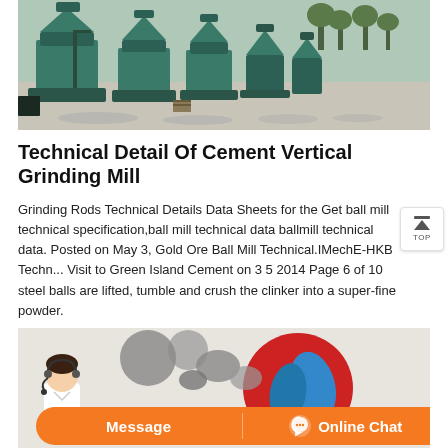[Figure (photo): Outdoor yard with multiple large green vertical grinding mill machines lined up on a concrete surface with trees in the background]
Technical Detail Of Cement Vertical Grinding Mill
Grinding Rods Technical Details Data Sheets for the Get ball mill technical specification,ball mill technical data ballmill technical data. Posted on May 3, Gold Ore Ball Mill Technical.IMechE-HKB Techn... Visit to Green Island Cement on 3 5 2014 Page 6 of 10 steel balls are lifted, tumble and crush the clinker into a super-fine powder.
[Figure (illustration): Partial view of an illustrated graphic with grey and red circular shapes on a light background, with a person (customer service representative with headset) and an orange chat bar at the bottom]